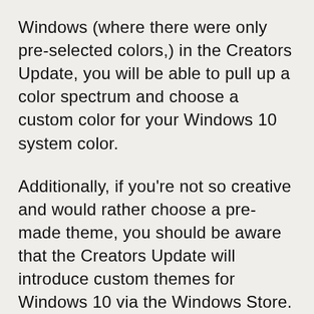Windows (where there were only pre-selected colors,) in the Creators Update, you will be able to pull up a color spectrum and choose a custom color for your Windows 10 system color.
Additionally, if you're not so creative and would rather choose a pre-made theme, you should be aware that the Creators Update will introduce custom themes for Windows 10 via the Windows Store. My personal favorite is the Cats Anytime theme, because who does not like Cats? Much adorable!